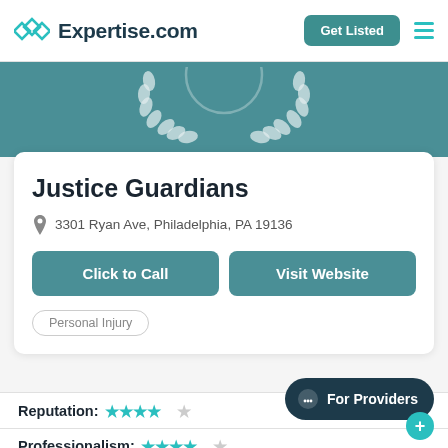Expertise.com — Get Listed
[Figure (illustration): Laurel wreath award badge on teal background, partially visible at top]
Justice Guardians
3301 Ryan Ave, Philadelphia, PA 19136
Click to Call
Visit Website
Personal Injury
Reputation: ★★★★☆
Professionalism: ★★★★☆
For Providers